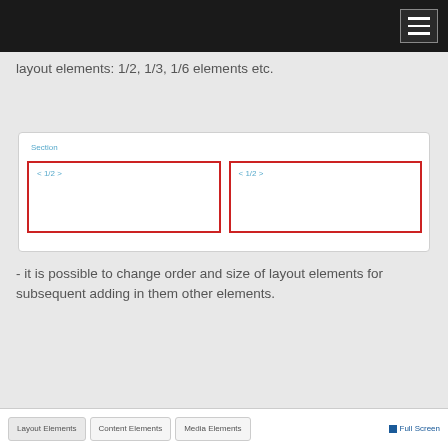layout elements: 1/2, 1/3, 1/6 elements etc.
[Figure (screenshot): A UI demo box showing a Section container with two side-by-side 1/2 layout columns, each outlined in red with a '< 1/2 >' label in the top-left corner.]
- it is possible to change order and size of layout elements for subsequent adding in them other elements.
Layout Elements   Content Elements   Media Elements   Full Screen